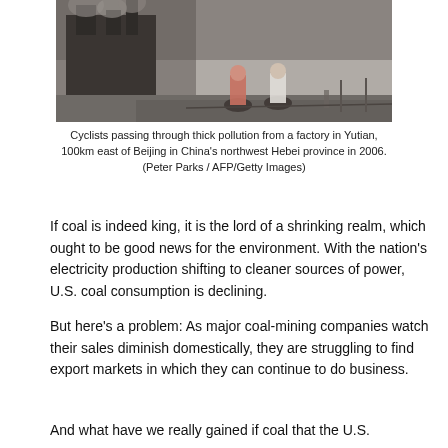[Figure (photo): Black and white photo of cyclists passing through thick smog/pollution near a factory building in China. Two cyclists are visible in the foreground against a smoky, hazy background.]
Cyclists passing through thick pollution from a factory in Yutian, 100km east of Beijing in China's northwest Hebei province in 2006. (Peter Parks / AFP/Getty Images)
If coal is indeed king, it is the lord of a shrinking realm, which ought to be good news for the environment. With the nation's electricity production shifting to cleaner sources of power, U.S. coal consumption is declining.
But here's a problem: As major coal-mining companies watch their sales diminish domestically, they are struggling to find export markets in which they can continue to do business.
And what have we really gained if coal that the U.S.